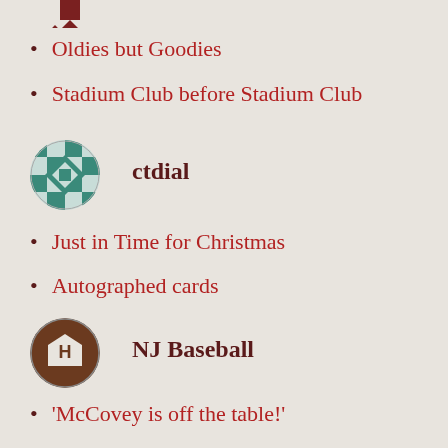[Figure (other): Partial decorative icon at top, cut off]
Oldies but Goodies
Stadium Club before Stadium Club
[Figure (other): ctdial user avatar - teal/green quilt pattern icon]
ctdial
Just in Time for Christmas
Autographed cards
[Figure (other): NJ Baseball user avatar - brown circle with home plate icon]
NJ Baseball
‘McCovey is off the table!’
My Favorite Common
[Figure (photo): davec67 user avatar - photo of a person]
davec67